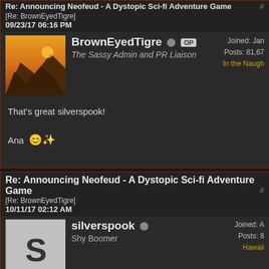Re: Announcing Neofeud - A Dystopic Sci-fi Adventure Game
[Re: BrownEyedTigre]
09/23/17 06:16 PM
BrownEyedTigre OP
The Sassy Admin and PR Liaison
Joined: Jan
Posts: 81,67
In the Naugh
That's great silverspook!

Ana 😊
Re: Announcing Neofeud - A Dystopic Sci-fi Adventure Game
[Re: BrownEyedTigre]
10/11/17 02:12 AM
silverspook
Shy Boomer
Joined: A
Posts: 8
Hawaii
😊

Another quick update: Neofeud has it's first update that implements a bu fixes to makes for a smoother, better gaming experience!